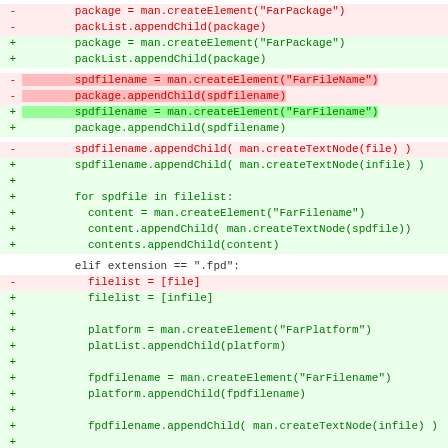[Figure (screenshot): Code diff showing Python source changes. Deleted lines (red) and added lines (green) for XML element creation using man.createElement calls, with highlighted changed strings FarFileName vs FarFilename. Includes a for loop, elif/else branches, and various appendChild operations.]